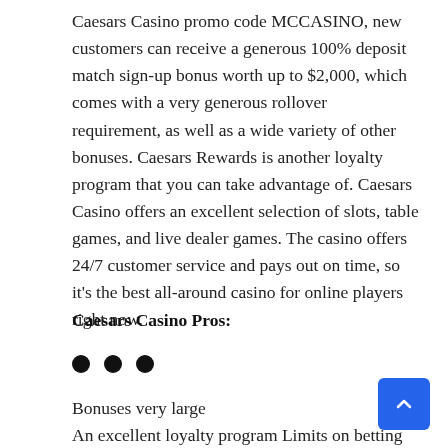Caesars Casino promo code MCCASINO, new customers can receive a generous 100% deposit match sign-up bonus worth up to $2,000, which comes with a very generous rollover requirement, as well as a wide variety of other bonuses. Caesars Rewards is another loyalty program that you can take advantage of. Caesars Casino offers an excellent selection of slots, table games, and live dealer games. The casino offers 24/7 customer service and pays out on time, so it's the best all-around casino for online players right now.
Caesars Casino Pros:
Bonuses very large
An excellent loyalty program Limits on betting